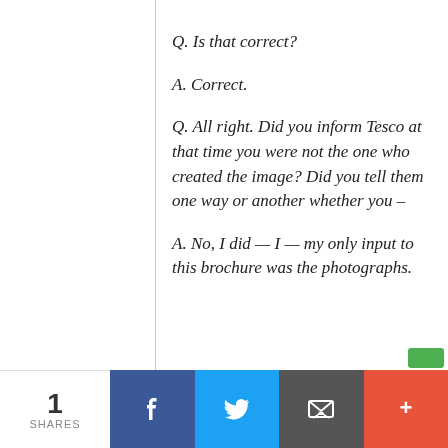Q. Is that correct?
A. Correct.
Q. All right. Did you inform Tesco at that time you were not the one who created the image? Did you tell them one way or another whether you –
A. No, I did — I — my only input to this brochure was the photographs.
1 SHARES  [Facebook] [Twitter] [Email] [+]